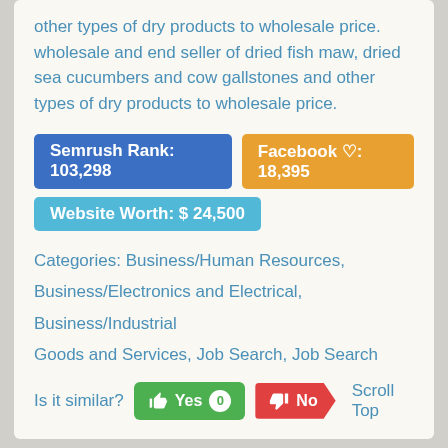other types of dry products to wholesale price. wholesale and end seller of dried fish maw, dried sea cucumbers and cow gallstones and other types of dry products to wholesale price.
Semrush Rank: 103,298 | Facebook ♡: 18,395 | Website Worth: $ 24,500
Categories: Business/Human Resources, Business/Electronics and Electrical, Business/Industrial Goods and Services, Job Search, Job Search
Is it similar? Yes 0 No Scroll Top